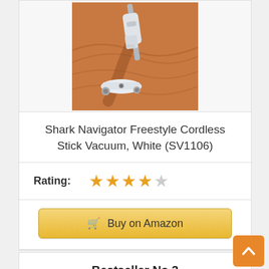[Figure (photo): Shark Navigator Freestyle Cordless Stick Vacuum, White (SV1106) product photo on hardwood floor background]
Shark Navigator Freestyle Cordless Stick Vacuum, White (SV1106)
Rating: ★★★★☆
Buy on Amazon
Bestseller No.3
[Figure (photo): Partial product photo of Bestseller No.3 vacuum, showing top portion of a black stick vacuum]